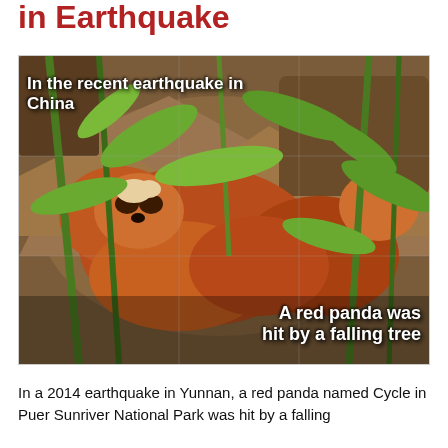in Earthquake
[Figure (photo): A red panda visible through bamboo leaves with text overlays: 'In the recent earthquake in China' at top left and 'A red panda was hit by a falling tree' at bottom right]
In a 2014 earthquake in Yunnan, a red panda named Cycle in Puer Sunriver National Park was hit by a falling